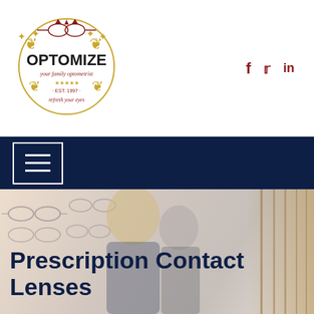[Figure (logo): Optomize optometrist logo — circular emblem with gold decorative flourishes, red crown/glasses emblem at top, text 'OPTOMIZE' in large bold black letters, cursive text 'your family optometrist', stars and 'EST. 1997', 'refresh your eyes' text, all within a circular border]
[Figure (other): Social media icons: Facebook (f), Twitter (bird), LinkedIn (in) in dark red/maroon color]
[Figure (other): Navy blue navigation bar with white hamburger menu icon (three horizontal lines in a bordered square)]
[Figure (photo): Hero background photo of an optometry/eyewear shop interior showing glasses displayed on wall shelves, with two people (optometrist and patient) trying on glasses]
Prescription Contact Lenses